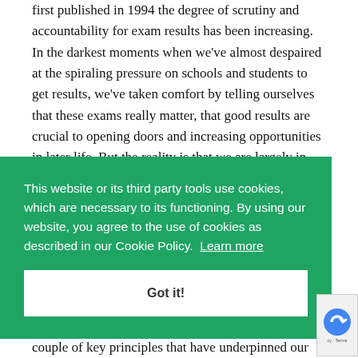first published in 1994 the degree of scrutiny and accountability for exam results has been increasing. In the darkest moments when we've almost despaired at the spiraling pressure on schools and students to get results, we've taken comfort by telling ourselves that these exams really matter, that good results are crucial to opening doors and increasing opportunities in later life. But the reality is that we are largely in the
[Figure (screenshot): Cookie consent banner overlay with green background (#1fa464). Contains text: 'This website or its third party tools use cookies, which are necessary to its functioning. By using our website, you agree to the use of cookies as described in our Cookie Policy. Learn more' followed by a white 'Got it!' button.]
couple of key principles that have underpinned our